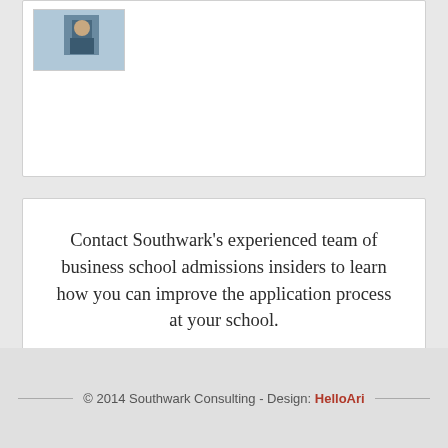[Figure (photo): Partial view of a card with a small thumbnail image showing a person, top portion of a white content card]
Contact Southwark's experienced team of business school admissions insiders to learn how you can improve the application process at your school.
Contact Southwark
© 2014 Southwark Consulting - Design: HelloAri